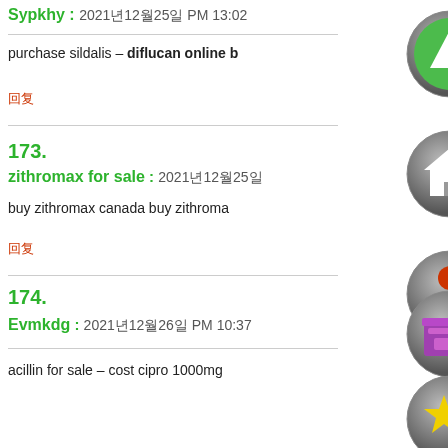Sypkhy : 2021년12월25일 PM 13:02
purchase sildalis – diflucan online b
回复
173.
zithromax for sale : 2021년12월25일
buy zithromax canada buy zithroma
回复
174.
Evmkdg : 2021년12월26일 PM 10:37
acillin for sale – cost cipro 1000mg